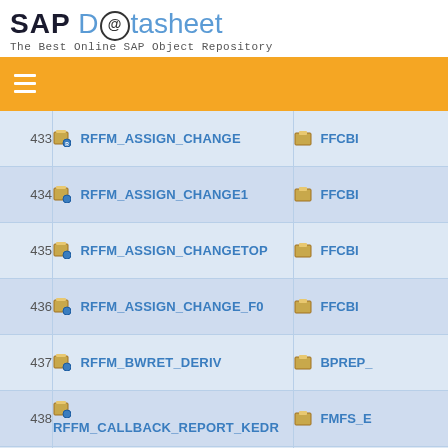[Figure (logo): SAP Datasheet logo with orange dot and blue text]
The Best Online SAP Object Repository
| # | Name | Package |
| --- | --- | --- |
| 433 | RFFM_ASSIGN_CHANGE | FFCBI |
| 434 | RFFM_ASSIGN_CHANGE1 | FFCBI |
| 435 | RFFM_ASSIGN_CHANGETOP | FFCBI |
| 436 | RFFM_ASSIGN_CHANGE_F0 | FFCBI |
| 437 | RFFM_BWRET_DERIV | BPREP_ |
| 438 | RFFM_CALLBACK_REPORT_KEDR | FMFS_E |
| 439 | RFFM_CHECK_VERRECHNUNG | FM_LGD_H |
| 440 | ... | ... |